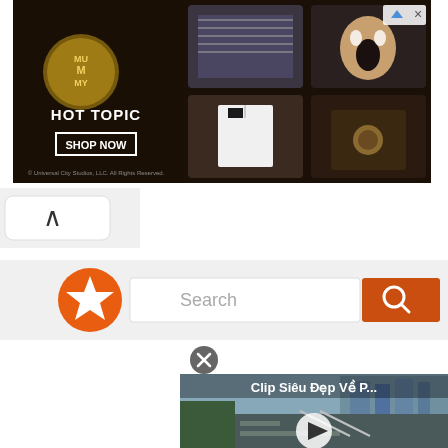[Figure (screenshot): Hot Topic advertisement banner for The Mummy movie merchandise, showing dark themed gothic clothing items and 'SHOP NOW' button. Small ad controls (arrow and X) visible in top-right corner.]
[Figure (screenshot): Mobile browser UI element showing a collapse/up-arrow chevron button in a white rounded rectangle on a gray background.]
[Figure (screenshot): Search bar UI with orange star logo on left, text input field with placeholder 'Search', and orange search button with magnifying glass icon on right.]
[Figure (screenshot): Video thumbnail popup with close (X) button, showing a street/bridge scene from a bicycle rider perspective with overlay text 'Clip Siêu Đẹp Về P...' and a play button in the center.]